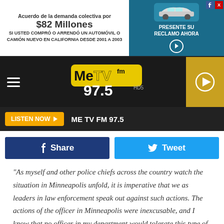[Figure (screenshot): Advertisement banner in Spanish for a class action lawsuit settlement of $82 million for car purchases in California from 2001 to 2003, with a car image and a button saying PRESENTE SU RECLAMO AHORA]
[Figure (logo): MeTV fm 97.5 HD5 radio station logo on dark background with hamburger menu and play button]
LISTEN NOW  ME TV FM 97.5
Share  Tweet
"As myself and other police chiefs across the country watch the situation in Minneapolis unfold, it is imperative that we as leaders in law enforcement speak out against such actions. The actions of the officer in Minneapolis were inexcusable, and I know that no officer in my department would tolerate this type of behavior. The Tuscaloosa Police Department works extremely hard every day to protect and work